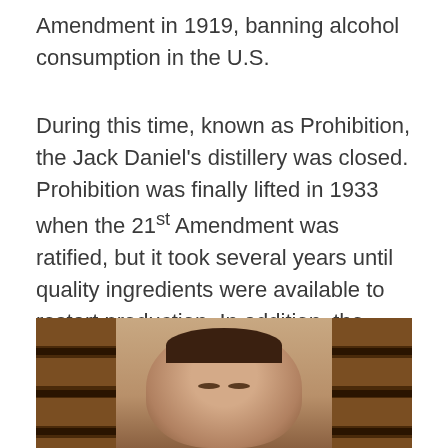Amendment in 1919, banning alcohol consumption in the U.S.
During this time, known as Prohibition, the Jack Daniel's distillery was closed. Prohibition was finally lifted in 1933 when the 21st Amendment was ratified, but it took several years until quality ingredients were available to restart production. In addition, the distillery closed during World War II so resources could be diverted to the war effort.
[Figure (photo): A man with eyes closed surrounded by wooden whiskey barrels in a distillery warehouse, viewed from below between rows of stacked barrels.]